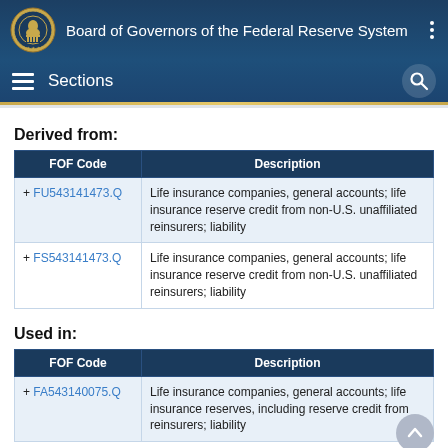Board of Governors of the Federal Reserve System
Sections
Derived from:
| FOF Code | Description |
| --- | --- |
| + FU543141473.Q | Life insurance companies, general accounts; life insurance reserve credit from non-U.S. unaffiliated reinsurers; liability |
| + FS543141473.Q | Life insurance companies, general accounts; life insurance reserve credit from non-U.S. unaffiliated reinsurers; liability |
Used in:
| FOF Code | Description |
| --- | --- |
| + FA543140075.Q | Life insurance companies, general accounts; life insurance reserves, including reserve credit from reinsurers; liability |